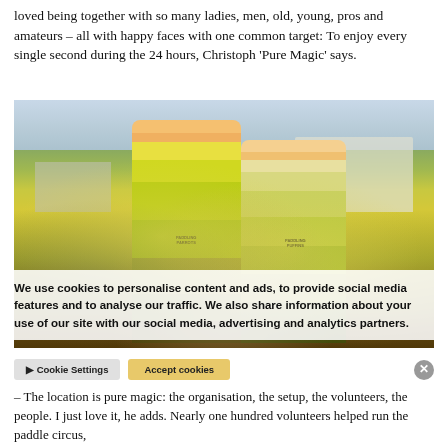loved being together with so many ladies, men, old, young, pros and amateurs – all with happy faces with one common target: To enjoy every single second during the 24 hours, Christoph 'Pure Magic' says.
[Figure (photo): Two women in bright yellow jerseys labeled 'Paddling Parrots' and 'Paddling Puffins', wearing novelty hats (parrot and bird), smiling and giving thumbs up at an outdoor paddling event.]
We use cookies to personalise content and ads, to provide social media features and to analyse our traffic. We also share information about your use of our site with our social media, advertising and analytics partners.
– The location is pure magic: the organisation, the setup, the volunteers, the people. I just love it, he adds. Nearly one hundred volunteers helped run the paddle circus,